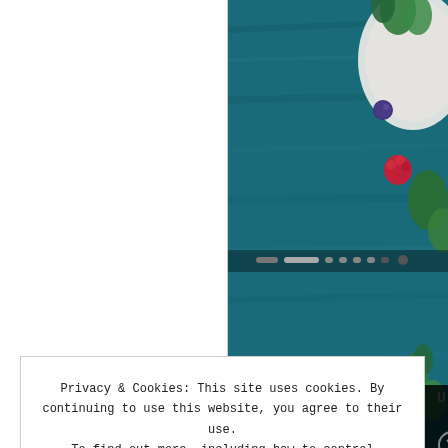[Figure (photo): Food photo on blue wooden background with berries, herbs, and a white plate visible in the upper right corner. Navigation dots visible at bottom.]
14 Seasonal Foods to E... Inflammation
Privacy & Cookies: This site uses cookies. By continuing to use this website, you agree to their use. To find out more, including how to control cookies, see here: Cookie Policy
Close and accept